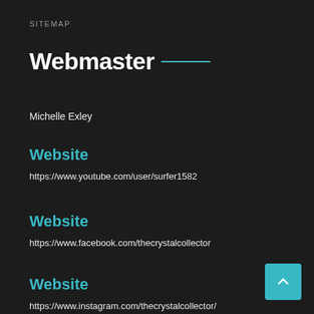SITEMAP
Webmaster
Michelle Exley
Website
https://www.youtube.com/user/surfer1582
Website
https://www.facebook.com/thecrystalcollector
Website
https://www.instagram.com/thecrystalcollector/